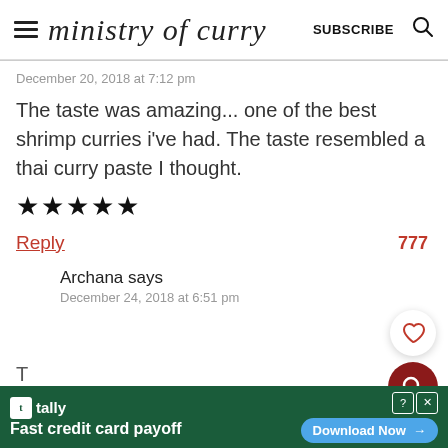ministry of curry | SUBSCRIBE
December 20, 2018 at 7:12 pm
The taste was amazing... one of the best shrimp curries i've had. The taste resembled a thai curry paste I thought.
★★★★★
Reply  777
Archana says
December 24, 2018 at 6:51 pm
[Figure (other): Tally advertisement banner: Fast credit card payoff, Download Now button]